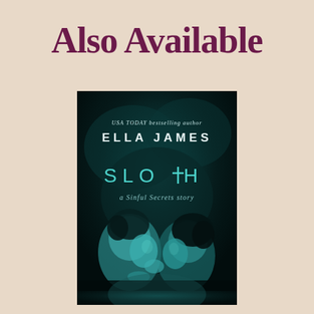Also Available
[Figure (illustration): Book cover for 'Sloth: a Sinful Secrets story' by Ella James (USA TODAY bestselling author). Dark teal/black atmospheric cover showing two people about to kiss, with teal lettering for the title SLOTH and subtitle 'a Sinful Secrets story'.]